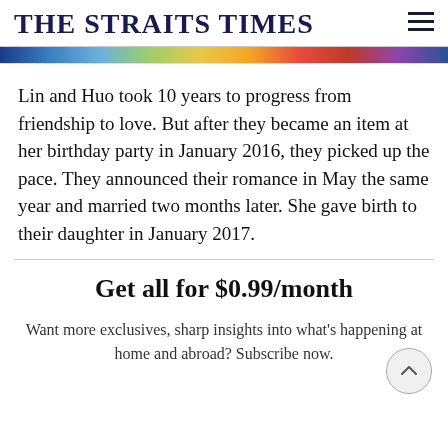THE STRAITS TIMES
[Figure (photo): Colorful banner image strip at the top of the article page]
Lin and Huo took 10 years to progress from friendship to love. But after they became an item at her birthday party in January 2016, they picked up the pace. They announced their romance in May the same year and married two months later. She gave birth to their daughter in January 2017.
Get all for $0.99/month
Want more exclusives, sharp insights into what's happening at home and abroad? Subscribe now.